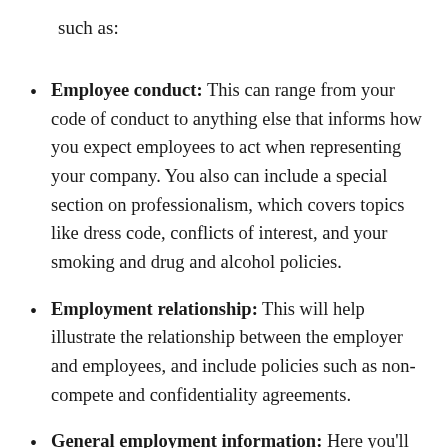such as:
Employee conduct: This can range from your code of conduct to anything else that informs how you expect employees to act when representing your company. You also can include a special section on professionalism, which covers topics like dress code, conflicts of interest, and your smoking and drug and alcohol policies.
Employment relationship: This will help illustrate the relationship between the employer and employees, and include policies such as non-compete and confidentiality agreements.
General employment information: Here you'll want to include information about the day-to-